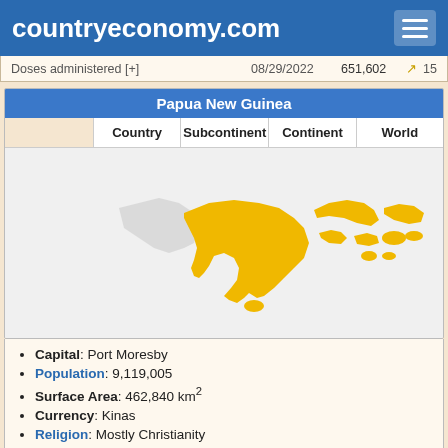countryeconomy.com
| Indicator | Date | Value |  |  |
| --- | --- | --- | --- | --- |
| Doses administered [+] | 08/29/2022 | 651,602 |  | 15 |
Papua New Guinea
| Country | Subcontinent | Continent | World |
| --- | --- | --- | --- |
[Figure (map): Map showing Papua New Guinea highlighted in yellow/gold on a light grey world region background]
Capital: Port Moresby
Population: 9,119,005
Surface Area: 462,840 km2
Currency: Kinas
Religion: Mostly Christianity
Belongs to: ACP, IMF, UN, PIF
Austria
| Country | Subcontinent | Continent | World |
| --- | --- | --- | --- |